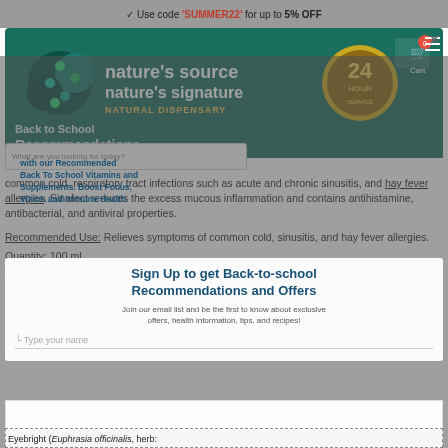Use code 'SUMMER22' for up to 5% OFF
[Figure (screenshot): Nature's Source / Nature's Signature Natural Dispensary banner with logo and 24-hour badge]
Back to School Recommendations
What are you looking for today?
with our Recommended Back To School Vitamins and Supplements. Boost Focus, Vision and Immune Health
common cold, respiratory tract infections such as acute and chronic sinusitis, and hay fever allergies. Sinafect reduces the excess mucous inflammation and contains antihistamine, antibacterial, and antiviral properties.
Recommended Use: Relieves symptoms of common cold, sinusitis, and hay fever allergies.
Quantity: 100 ml
Dosages: Adults: Take 2 mL (60 drops) three times daily in a little water on an empty stomach.
Medicinal Ingredients per capsule:
Sign Up to get Back-to-school Recommendations and Offers
Join our email list and be the first to know about exclusive offers, health information, tips, and recipes!
Type your name
Eyebright (Euphrasia officinalis, herb: